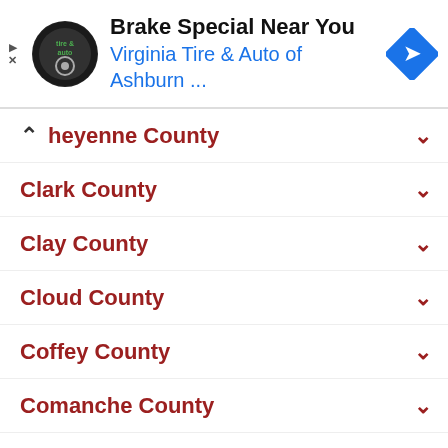[Figure (other): Advertisement banner for Virginia Tire & Auto of Ashburn showing logo, title 'Brake Special Near You', subtitle 'Virginia Tire & Auto of Ashburn ...', and navigation arrow icon]
Cheyenne County
Clark County
Clay County
Cloud County
Coffey County
Comanche County
Cowley County
Crawford County
Decatur County
Dickinson County